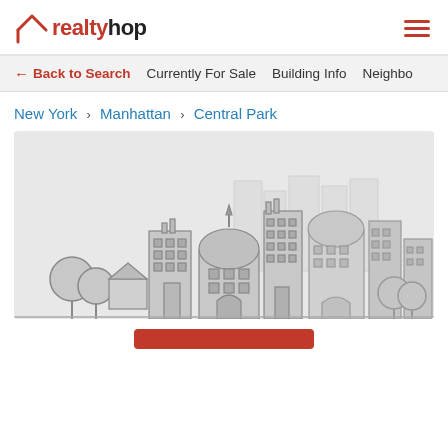realtyhop
← Back to Search   Currently For Sale   Building Info   Neighbo...
New York > Manhattan > Central Park
[Figure (illustration): Gray illustrated city skyline with buildings, trees, and architectural details on a light gray background]